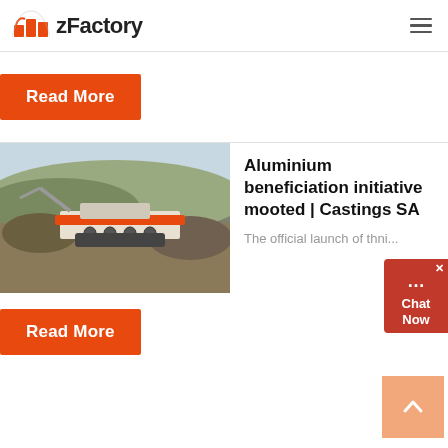zFactory
Read More
[Figure (photo): Industrial crushing/screening machine operating at a quarry or mining site, surrounded by rock and earth]
Aluminium beneficiation initiative mooted | Castings SA
The official launch of th...ni...
Read More